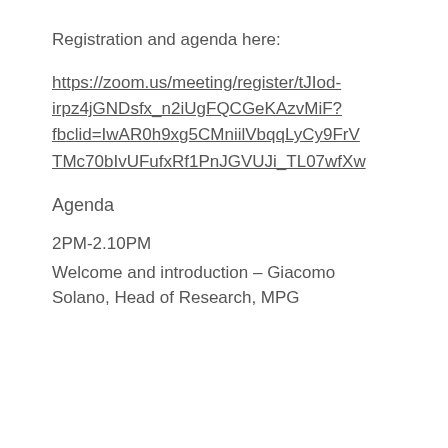Registration and agenda here:
https://zoom.us/meeting/register/tJIod-irpz4jGNDsfx_n2iUgFQCGeKAzvMiF?fbclid=IwAR0h9xg5CMniilVbqqLyCy9FrVTMc70bIvUFufxRf1PnJGVUJi_TL07wfXw
Agenda
2PM-2.10PM
Welcome and introduction – Giacomo Solano, Head of Research, MPG